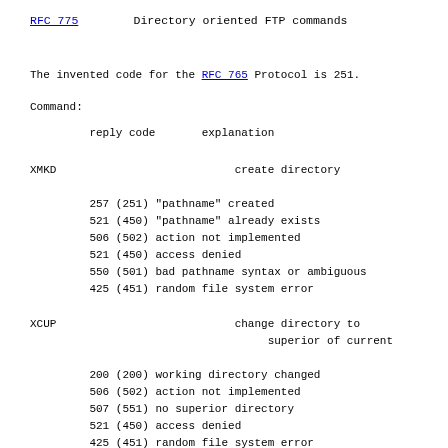RFC 775        Directory oriented FTP commands
The invented code for the RFC 765 Protocol is 251.
Command:
reply code       explanation
XMKD                           create directory

         257 (251) "pathname" created
         521 (450) "pathname" already exists
         506 (502) action not implemented
         521 (450) access denied
         550 (501) bad pathname syntax or ambiguous
         425 (451) random file system error
XCUP                           change directory to
                                    superior of current

         200 (200) working directory changed
         506 (502) action not implemented
         507 (551) no superior directory
         521 (450) access denied
         425 (451) random file system error